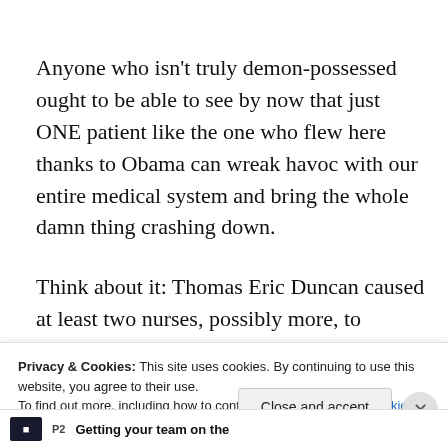Anyone who isn't truly demon-possessed ought to be able to see by now that just ONE patient like the one who flew here thanks to Obama can wreak havoc with our entire medical system and bring the whole damn thing crashing down.
Think about it: Thomas Eric Duncan caused at least two nurses, possibly more, to become infected.  Those nurses and health workers have now spread the possible
Privacy & Cookies: This site uses cookies. By continuing to use this website, you agree to their use.
To find out more, including how to control cookies, see here: Cookie Policy
Close and accept
Getting your team on the